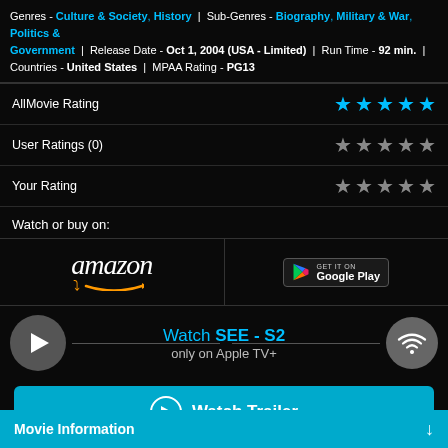Genres - Culture & Society, History | Sub-Genres - Biography, Military & War, Politics & Government | Release Date - Oct 1, 2004 (USA - Limited) | Run Time - 92 min. | Countries - United States | MPAA Rating - PG13
| Label | Rating |
| --- | --- |
| AllMovie Rating | ★★★★★ |
| User Ratings (0) | ★★★★★ |
| Your Rating | ★★★★★ |
Watch or buy on:
[Figure (logo): Amazon logo and Google Play badge side by side in a store row]
[Figure (infographic): Watch SEE - S2 only on Apple TV+ banner with play button and wifi icon]
[Figure (other): Watch Trailer button in cyan/blue]
Movie Information